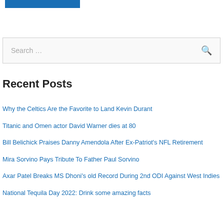[Figure (other): Blue rectangular banner bar at top of page]
Search …
Recent Posts
Why the Celtics Are the Favorite to Land Kevin Durant
Titanic and Omen actor David Warner dies at 80
Bill Belichick Praises Danny Amendola After Ex-Patriot's NFL Retirement
Mira Sorvino Pays Tribute To Father Paul Sorvino
Axar Patel Breaks MS Dhoni's old Record During 2nd ODI Against West Indies
National Tequila Day 2022: Drink some amazing facts